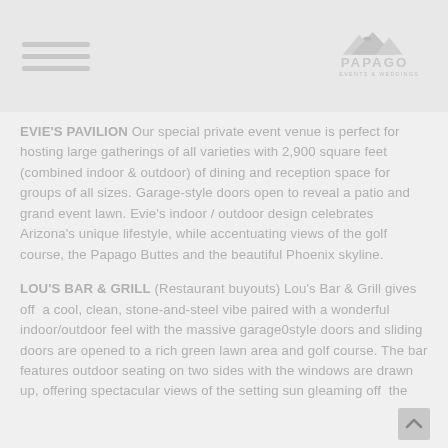Papago Events & Weddings
EVIE'S PAVILION Our special private event venue is perfect for hosting large gatherings of all varieties with 2,900 square feet (combined indoor & outdoor) of dining and reception space for groups of all sizes. Garage-style doors open to reveal a patio and grand event lawn. Evie's indoor / outdoor design celebrates Arizona's unique lifestyle, while accentuating views of the golf course, the Papago Buttes and the beautiful Phoenix skyline.
LOU'S BAR & GRILL (Restaurant buyouts) Lou's Bar & Grill gives off a cool, clean, stone-and-steel vibe paired with a wonderful indoor/outdoor feel with the massive garage0style doors and sliding doors are opened to a rich green lawn area and golf course. The bar features outdoor seating on two sides with the windows are drawn up, offering spectacular views of the setting sun gleaming off the